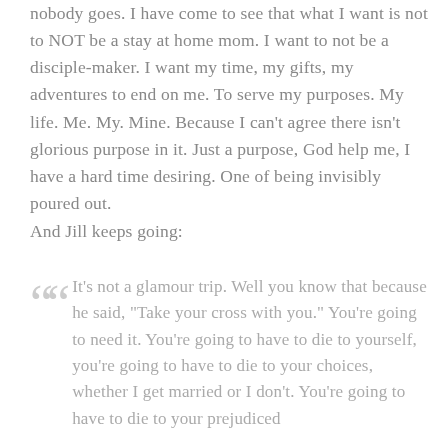nobody goes. I have come to see that what I want is not to NOT be a stay at home mom. I want to not be a disciple-maker. I want my time, my gifts, my adventures to end on me. To serve my purposes. My life. Me. My. Mine. Because I can't agree there isn't glorious purpose in it. Just a purpose, God help me, I have a hard time desiring. One of being invisibly poured out.
And Jill keeps going:
It's not a glamour trip. Well you know that because he said, "Take your cross with you." You're going to need it. You're going to have to die to yourself, you're going to have to die to your choices, whether I get married or I don't. You're going to have to die to your prejudiced